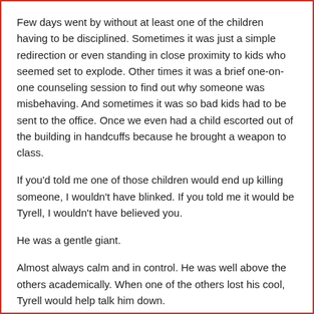Few days went by without at least one of the children having to be disciplined. Sometimes it was just a simple redirection or even standing in close proximity to kids who seemed set to explode. Other times it was a brief one-on-one counseling session to find out why someone was misbehaving. And sometimes it was so bad kids had to be sent to the office. Once we even had a child escorted out of the building in handcuffs because he brought a weapon to class.
If you'd told me one of those children would end up killing someone, I wouldn't have blinked. If you told me it would be Tyrell, I wouldn't have believed you.
He was a gentle giant.
Almost always calm and in control. He was well above the others academically. When one of the others lost his cool, Tyrell would help talk him down.
I wondered why he was there. Turns out he was involved in a bloody fight on the way home from school the year before.